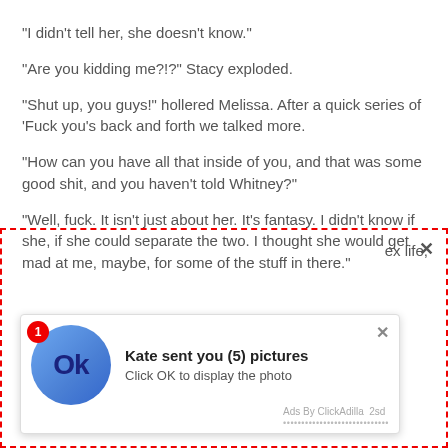“I didn’t tell her, she doesn’t know.”
“Are you kidding me?!?” Stacy exploded.
“Shut up, you guys!” hollered Melissa. After a quick series of ‘Fuck you’s back and forth we talked more.
“How can you have all that inside of you, and that was some good shit, and you haven’t told Whitney?”
“Well, fuck. It isn’t just about her. It’s fantasy. I didn’t know if she, if she could separate the two. I thought she would get mad at me, maybe, for some of the stuff in there.”
[Figure (screenshot): Ad overlay with red dashed border containing a notification popup. The popup has a blue circle icon with 'Ok' text, a badge with '1', the title 'Kate sent you (5) pictures', subtitle 'Click OK to display the photo', a close X button, and 'Ads By ClickAdilla 2sd' footer. A separate close X appears in the top-right of the dashed border area.]